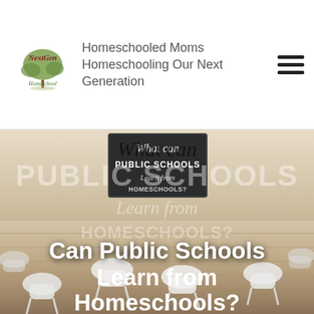Homeschooled Moms Homeschooling Our Next Generation
[Figure (photo): Classroom photo with empty white chairs around a table, warm beige/tan tones, with a chalkboard sign reading 'What can PUBLIC SCHOOLS Learn from HOMESCHOOLS?' overlaid with large white bold text 'Can Public Schools Learn from Homeschools?']
Can Public Schools Learn from Homeschools?